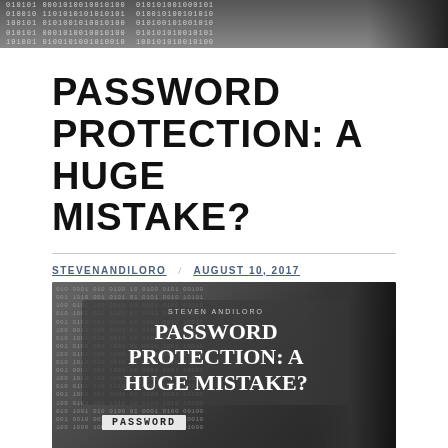[Figure (photo): Binary code background image banner at top of page]
PASSWORD PROTECTION: A HUGE MISTAKE?
STEVENANDILORO / AUGUST 10, 2017
[Figure (photo): Book cover image showing 'PASSWORD PROTECTION: A HUGE MISTAKE?' by Steven Andiloro, with binary code background and a hand holding a magnifying glass over the word PASSWORD]